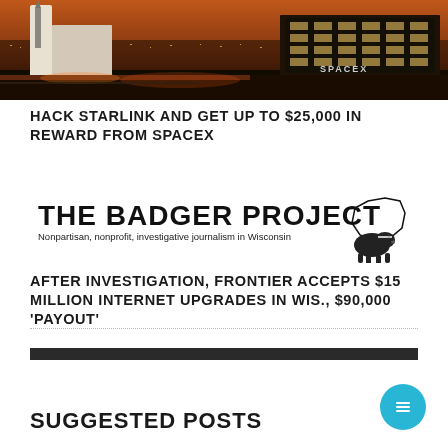[Figure (photo): Aerial nighttime view of a SpaceX facility with rockets and large illuminated buildings. The SpaceX logo is visible on a building in the background.]
HACK STARLINK AND GET UP TO $25,000 IN REWARD FROM SPACEX
[Figure (logo): The Badger Project logo. Bold text reads THE BADGER PROJECT with a badger illustration and outline of Wisconsin state. Subtitle: Nonpartisan, nonprofit, investigative journalism in Wisconsin]
AFTER INVESTIGATION, FRONTIER ACCEPTS $15 MILLION INTERNET UPGRADES IN WIS., $90,000 ‘PAYOUT’
SUGGESTED POSTS